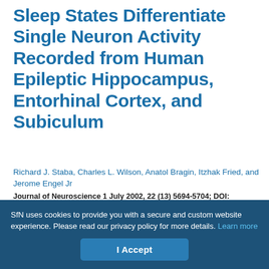Sleep States Differentiate Single Neuron Activity Recorded from Human Epileptic Hippocampus, Entorhinal Cortex, and Subiculum
Richard J. Staba, Charles L. Wilson, Anatol Bragin, Itzhak Fried, and Jerome Engel Jr
Journal of Neuroscience 1 July 2002, 22 (13) 5694-5704; DOI: https://doi.org/10.1523/JNEUROSCI.22-13-05694.2002
SfN uses cookies to provide you with a secure and custom website experience. Please read our privacy policy for more details. Learn more